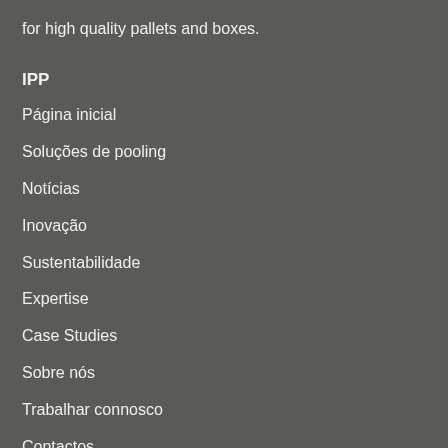for high quality pallets and boxes.
IPP
Página inicial
Soluções de pooling
Notícias
Inovação
Sustentabilidade
Expertise
Case Studies
Sobre nós
Trabalhar connosco
Contactos
Condições gerais